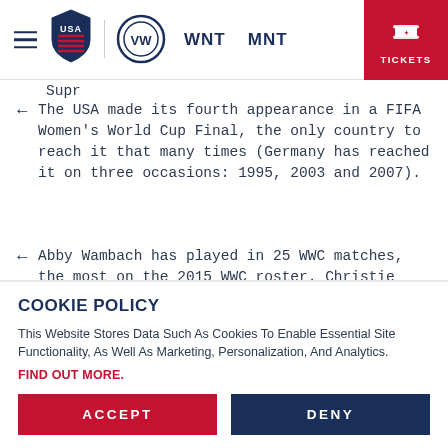USA Soccer navigation bar with hamburger menu, USA Soccer logo, Volkswagen logo, WNT, MNT links, and TICKETS button
Supr
The USA made its fourth appearance in a FIFA Women's World Cup Final, the only country to reach it that many times (Germany has reached it on three occasions: 1995, 2003 and 2007).
Abby Wambach has played in 25 WWC matches, the most on the 2015 WWC roster. Christie Rampone has played in 19 Women's World Cup games while Carli Lloyd has played in 18. Hope Solo has played in
COOKIE POLICY
This Website Stores Data Such As Cookies To Enable Essential Site Functionality, As Well As Marketing, Personalization, And Analytics.
FIND OUT MORE.
ACCEPT
DENY